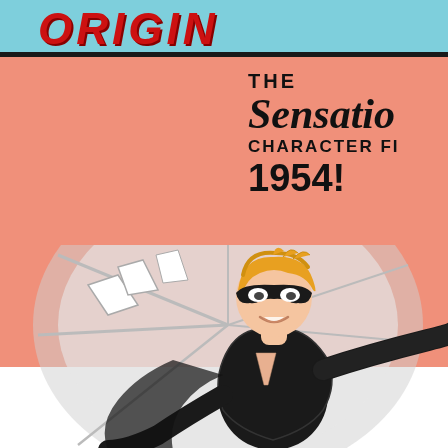ORIGIN
THE Sensatio CHARACTER FI 1954!
[Figure (illustration): Comic book cover illustration of a superhero character with blonde hair, black mask covering eyes, wearing a black suit with a V-shaped chest cutout, flying or leaping forward with a dynamic pose. Background shows a large circular/wheel shape in grey tones. The figure is drawn in a classic comic book style.]